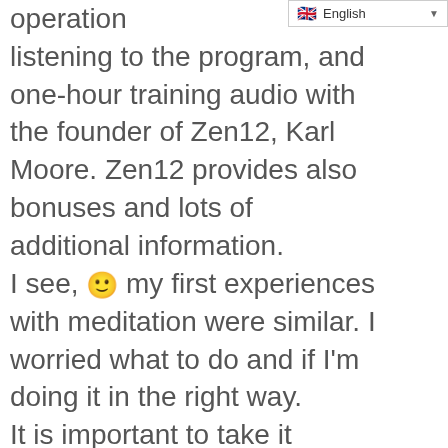[Figure (screenshot): Language selector dropdown showing British flag and 'English' with dropdown arrow]
operation listening to the program, and one-hour training audio with the founder of Zen12, Karl Moore. Zen12 provides also bonuses and lots of additional information. I see, 🙂 my first experiences with meditation were similar. I worried what to do and if I'm doing it in the right way. It is important to take it seriously and acknowledge it as something special what you do for you e.g. have enough undisturbed time, prepare the place for meditation, drink a glass of water. Sit comfortably so you can breathe easily and effortlessly, then let your